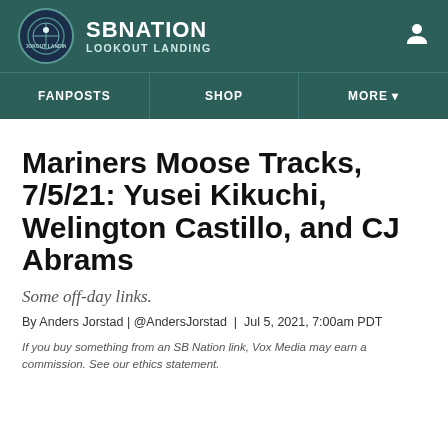SB NATION | LOOKOUT LANDING
Mariners Moose Tracks, 7/5/21: Yusei Kikuchi, Welington Castillo, and CJ Abrams
Some off-day links.
By Anders Jorstad | @AndersJorstad | Jul 5, 2021, 7:00am PDT
If you buy something from an SB Nation link, Vox Media may earn a commission. See our ethics statement.